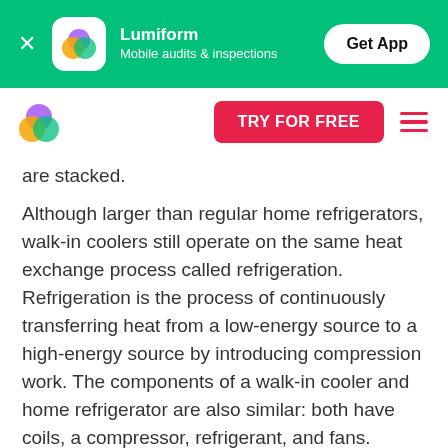Lumiform — Mobile audits & inspections — Get App
[Figure (logo): Lumiform app navigation bar with logo, TRY FOR FREE button, and hamburger menu]
are stacked.
Although larger than regular home refrigerators, walk-in coolers still operate on the same heat exchange process called refrigeration. Refrigeration is the process of continuously transferring heat from a low-energy source to a high-energy source by introducing compression work. The components of a walk-in cooler and home refrigerator are also similar: both have coils, a compressor, refrigerant, and fans. These mechanical components are the focus of the walk-in cooler maintenance checklist.